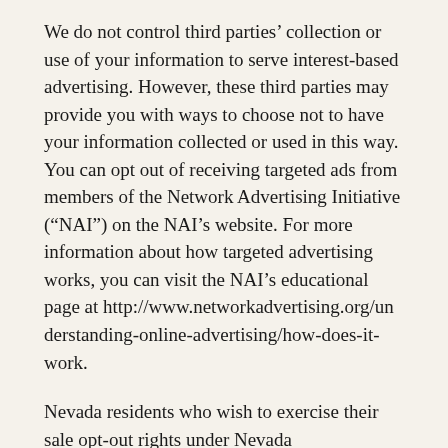We do not control third parties' collection or use of your information to serve interest-based advertising. However, these third parties may provide you with ways to choose not to have your information collected or used in this way. You can opt out of receiving targeted ads from members of the Network Advertising Initiative (“NAI”) on the NAI’s website. For more information about how targeted advertising works, you can visit the NAI’s educational page at http://www.networkadvertising.org/understanding-online-advertising/how-does-it-work.
Nevada residents who wish to exercise their sale opt-out rights under Nevada